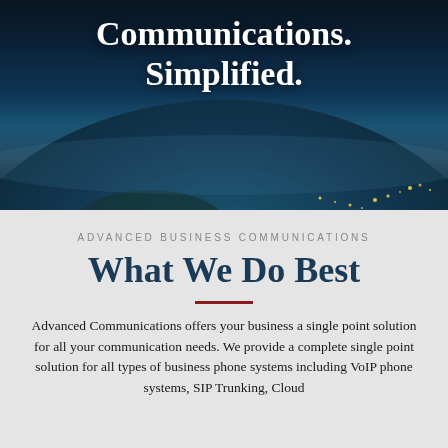[Figure (photo): Aerial/satellite photo of Earth from space showing globe with city lights and landmasses against dark space background, with white bold text overlay reading 'Communications. Simplified.']
Communications. Simplified.
ADVANCED BUSINESS COMMUNICATIONS
What We Do Best
Advanced Communications offers your business a single point solution for all your communication needs. We provide a complete single point solution for all types of business phone systems including VoIP phone systems, SIP Trunking, Cloud